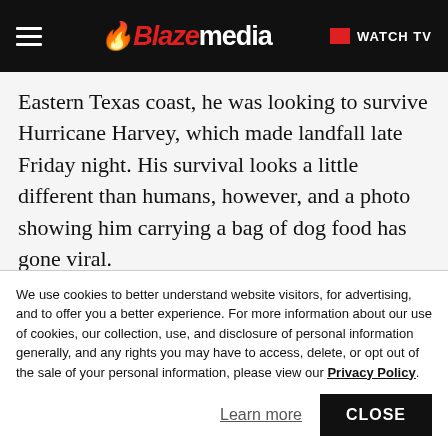Blaze media — WATCH TV
Eastern Texas coast, he was looking to survive Hurricane Harvey, which made landfall late Friday night. His survival looks a little different than humans, however, and a photo showing him carrying a bag of dog food has gone viral.
The story
Tiele Dockens was inspecting damage in her
We use cookies to better understand website visitors, for advertising, and to offer you a better experience. For more information about our use of cookies, our collection, use, and disclosure of personal information generally, and any rights you may have to access, delete, or opt out of the sale of your personal information, please view our Privacy Policy.
Learn more
CLOSE